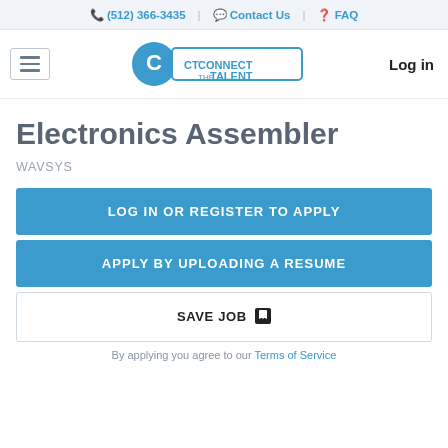📞 (512) 366-3435 | 💬 Contact Us | ❓ FAQ
[Figure (logo): Connect the Talent logo with hamburger menu and Log in button]
Electronics Assembler
WAVSYS
LOG IN OR REGISTER TO APPLY
APPLY BY UPLOADING A RESUME
SAVE JOB 🔒
By applying you agree to our Terms of Service